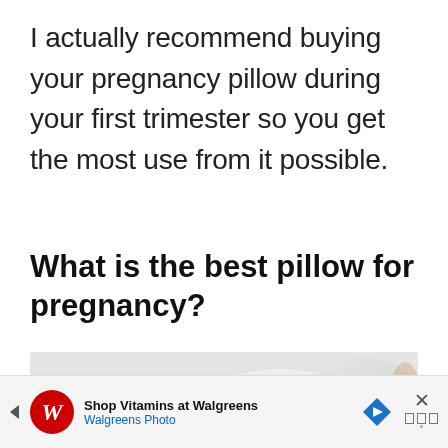I actually recommend buying your pregnancy pillow during your first trimester so you get the most use from it possible.
What is the best pillow for pregnancy?
[Figure (photo): Photo of white pillows and bedding, partially visible from above]
[Figure (infographic): Advertisement banner for Walgreens: 'Shop Vitamins at Walgreens' with Walgreens Photo branding, navigation arrow icon, and close button]